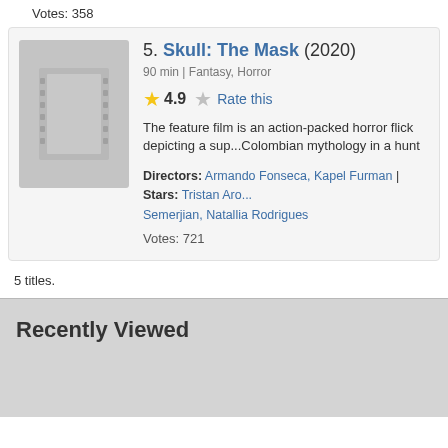Votes: 358
5. Skull: The Mask (2020)
90 min | Fantasy, Horror
4.9 Rate this
The feature film is an action-packed horror flick depicting a sup... Colombian mythology in a hunt for revenge in the metropolis of ...
Directors: Armando Fonseca, Kapel Furman | Stars: Tristan Aro... Semerjian, Natallia Rodrigues
Votes: 721
5 titles.
Recently Viewed